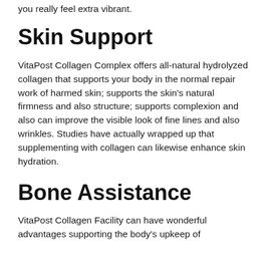you really feel extra vibrant.
Skin Support
VitaPost Collagen Complex offers all-natural hydrolyzed collagen that supports your body in the normal repair work of harmed skin; supports the skin’s natural firmness and also structure; supports complexion and also can improve the visible look of fine lines and also wrinkles. Studies have actually wrapped up that supplementing with collagen can likewise enhance skin hydration.
Bone Assistance
VitaPost Collagen Facility can have wonderful advantages supporting the body’s upkeep of